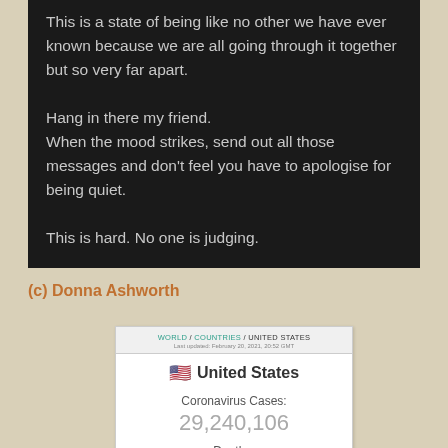This is a state of being like no other we have ever known because we are all going through it together but so very far apart.

Hang in there my friend.
When the mood strikes, send out all those messages and don't feel you have to apologise for being quiet.

This is hard. No one is judging.
(c) Donna Ashworth
[Figure (screenshot): Screenshot of a COVID-19 statistics website showing United States data. Breadcrumb: WORLD / COUNTRIES / UNITED STATES. Last updated February 20, 2021, 20:52 GMT. Shows US flag and 'United States', Coronavirus Cases: 29,240,106, Deaths: (cut off)]